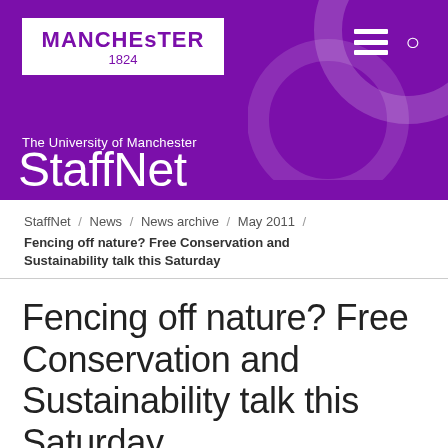[Figure (logo): University of Manchester logo with text MANCHESTER 1824 in purple on white background, with StaffNet text and decorative circles on purple banner header]
The University of Manchester
StaffNet
StaffNet / News / News archive / May 2011 /
Fencing off nature? Free Conservation and Sustainability talk this Saturday
Fencing off nature? Free Conservation and Sustainability talk this Saturday
26 May 2011